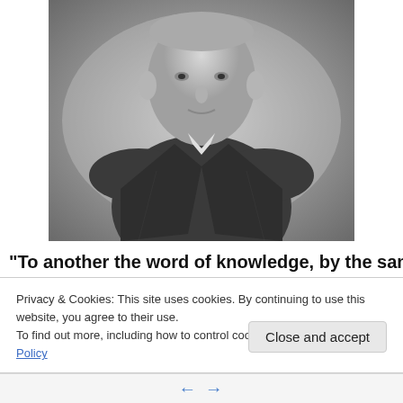[Figure (photo): Black and white portrait photograph of an elderly man in a dark double-breasted suit with a bow tie, facing slightly to the right.]
“To another the word of knowledge, by the same Spirit; to
Privacy & Cookies: This site uses cookies. By continuing to use this website, you agree to their use.
To find out more, including how to control cookies, see here: Cookie Policy
Close and accept